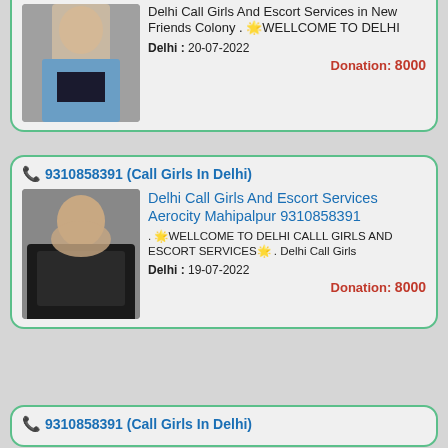[Figure (photo): Partial top card showing a woman in a denim jacket and black underwear, cropped from top]
Delhi Call Girls And Escort Services in New Friends Colony . 🌟WELLCOME TO DELHI
Delhi :  20-07-2022
Donation: 8000
📞 9310858391 (Call Girls In Delhi)
[Figure (photo): Woman with long dark hair wearing black lingerie]
Delhi Call Girls And Escort Services Aerocity Mahipalpur 9310858391
. 🌟WELLCOME TO DELHI CALLL GIRLS AND ESCORT SERVICES🌟 . Delhi Call Girls
Delhi :  19-07-2022
Donation: 8000
📞 9310858391 (Call Girls In Delhi)